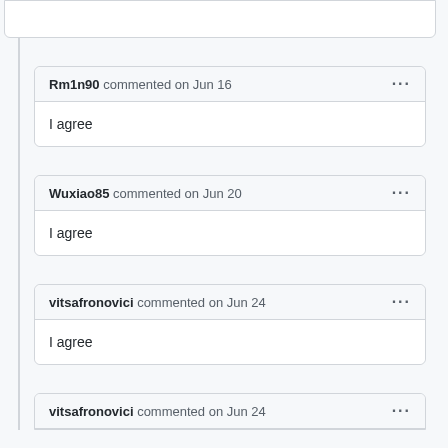Rm1n90 commented on Jun 16
I agree
Wuxiao85 commented on Jun 20
I agree
vitsafronovici commented on Jun 24
I agree
vitsafronovici commented on Jun 24